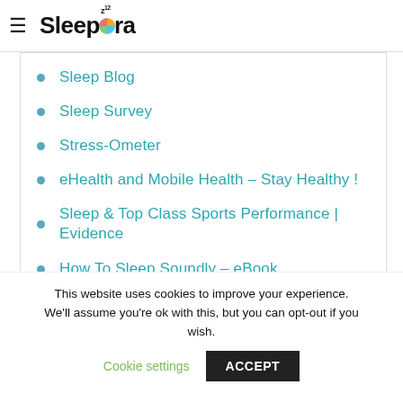Sleepora
Sleep Blog
Sleep Survey
Stress-Ometer
eHealth and Mobile Health – Stay Healthy !
Sleep & Top Class Sports Performance | Evidence
How To Sleep Soundly – eBook
This website uses cookies to improve your experience. We'll assume you're ok with this, but you can opt-out if you wish. Cookie settings ACCEPT